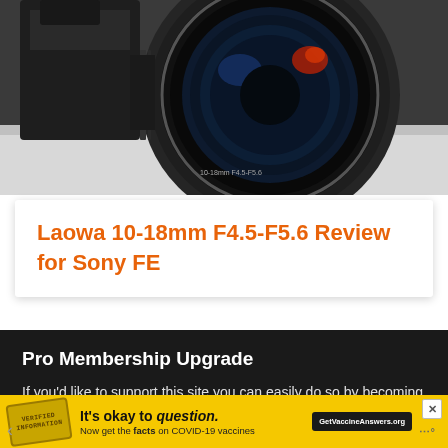[Figure (photo): Close-up photo of a camera lens (Laowa wide-angle zoom lens) mounted on a camera body, viewed from front-left angle against a light surface background. The lens shows a blue-tinted multi-element front element.]
Laowa 10-18mm F4.5-F5.6 Review for Sony FE
Pro Membership Upgrade
If you'd like to support this site you can easily do so by becoming a Pro Member in our Community Forums and unlocking the following benefits:
[Figure (infographic): Yellow advertisement bar at the bottom of the page. Contains a stamp graphic on the left, text 'It's okay to question. Now get the facts on COVID-19 vaccines' and a dark button 'GetVaccineAnswers.org'. There is a close (X) button in the top-right of the ad.]